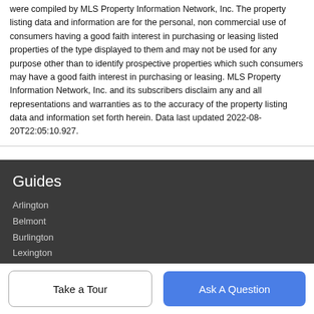were compiled by MLS Property Information Network, Inc. The property listing data and information are for the personal, non commercial use of consumers having a good faith interest in purchasing or leasing listed properties of the type displayed to them and may not be used for any purpose other than to identify prospective properties which such consumers may have a good faith interest in purchasing or leasing. MLS Property Information Network, Inc. and its subscribers disclaim any and all representations and warranties as to the accuracy of the property listing data and information set forth herein. Data last updated 2022-08-20T22:05:10.927.
Guides
Arlington
Belmont
Burlington
Lexington